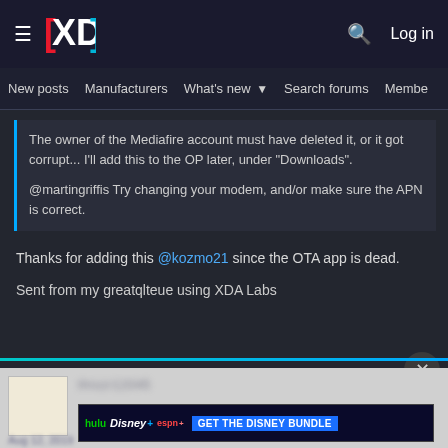XDA — Log in | New posts | Manufacturers | What's new | Search forums | Members
The owner of the Mediafire account must have deleted it, or it got corrupt... I'll add this to the OP later, under "Downloads".

@martingriffis Try changing your modem, and/or make sure the APN is correct.
Thanks for adding this @kozmo21 since the OTA app is dead.
Sent from my greatqlteue using XDA Labs
[Figure (screenshot): Disney Bundle advertisement banner featuring Hulu, Disney+, ESPN+ logos with 'GET THE DISNEY BUNDLE' call to action button]
Incl. Hulu (ad-supported) or Hulu (No Ads). Access content from each service separately. ©2021 Disney and its related entities